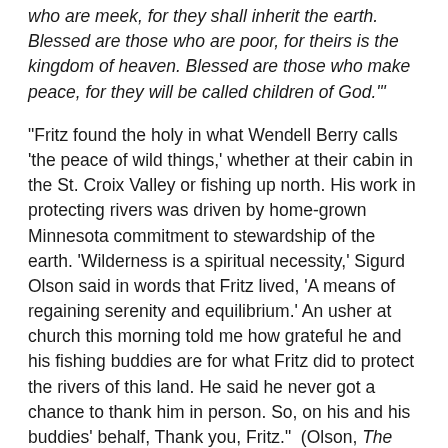who are meek, for they shall inherit the earth. Blessed are those who are poor, for theirs is the kingdom of heaven. Blessed are those who make peace, for they will be called children of God.'"
"Fritz found the holy in what Wendell Berry calls 'the peace of wild things,' whether at their cabin in the St. Croix Valley or fishing up north. His work in protecting rivers was driven by home-grown Minnesota commitment to stewardship of the earth. 'Wilderness is a spiritual necessity,' Sigurd Olson said in words that Fritz lived, 'A means of regaining serenity and equilibrium.' An usher at church this morning told me how grateful he and his fishing buddies are for what Fritz did to protect the rivers of this land. He said he never got a chance to thank him in person. So, on his and his buddies' behalf, Thank you, Fritz."  (Olson, The Spiritual Aspects of Wilderness (1961))
"Every time Fritz referred to his upbringing – which he did